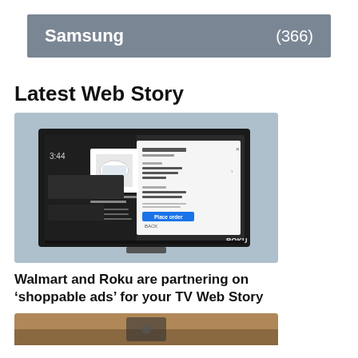Samsung (366)
Latest Web Story
[Figure (screenshot): Screenshot of a Walmart shopping experience on a Roku TV device showing a product checkout screen with a 'Place order' button]
Walmart and Roku are partnering on ‘shoppable ads’ for your TV Web Story
[Figure (photo): Partial photo of a device, bottom of page]